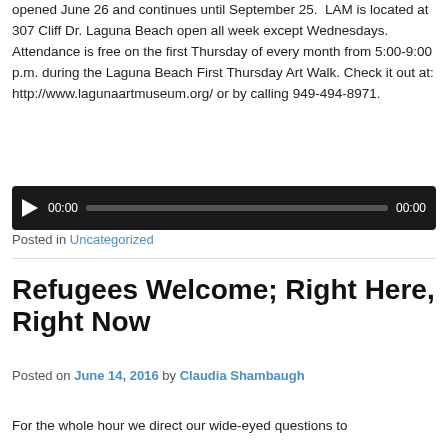opened June 26 and continues until September 25.  LAM is located at 307 Cliff Dr. Laguna Beach open all week except Wednesdays. Attendance is free on the first Thursday of every month from 5:00-9:00 p.m. during the Laguna Beach First Thursday Art Walk. Check it out at: http://www.lagunaartmuseum.org/ or by calling 949-494-8971.
[Figure (screenshot): Audio player widget with dark background, play button, time display showing 00:00, progress bar, and duration showing 00:00]
Posted in Uncategorized
Refugees Welcome; Right Here, Right Now
Posted on June 14, 2016 by Claudia Shambaugh
For the whole hour we direct our wide-eyed questions to